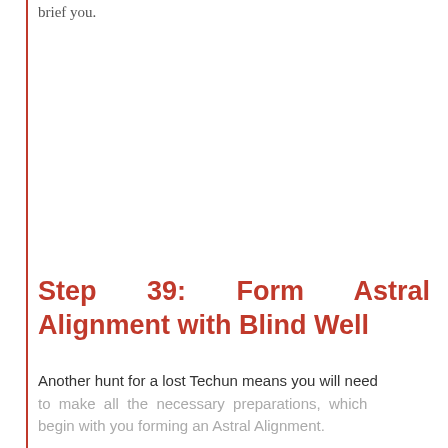brief you.
Step 39: Form Astral Alignment with Blind Well
Another hunt for a lost Techun means you will need to make all the necessary preparations, which begin with you forming an Astral Alignment.